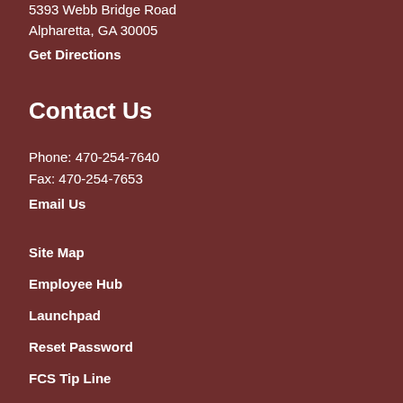5393 Webb Bridge Road
Alpharetta, GA 30005
Get Directions
Contact Us
Phone: 470-254-7640
Fax: 470-254-7653
Email Us
Site Map
Employee Hub
Launchpad
Reset Password
FCS Tip Line
About Us
FCS School Board